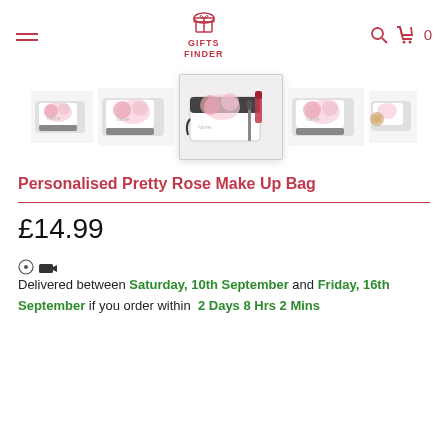GIFTS FINDER
[Figure (photo): Five product images of a Personalised Pretty Rose Make Up Bag shown from different angles. The center image is larger and shows the bag open with makeup items. The other four are smaller thumbnail views.]
Personalised Pretty Rose Make Up Bag
£14.99
Delivered between Saturday, 10th September and Friday, 16th September if you order within 2 Days 8 Hrs 2 Mins